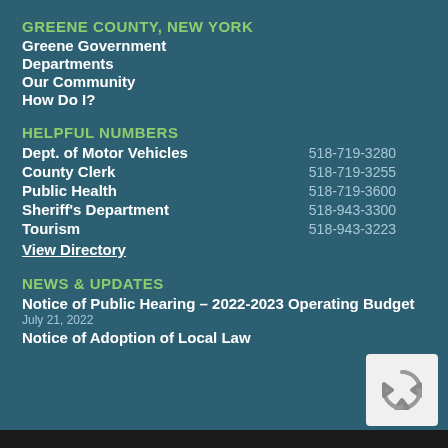GREENE COUNTY, NEW YORK
Greene Government
Departments
Our Community
How Do I?
HELPFUL NUMBERS
| Department | Phone |
| --- | --- |
| Dept. of Motor Vehicles | 518-719-3280 |
| County Clerk | 518-719-3255 |
| Public Health | 518-719-3600 |
| Sheriff's Department | 518-943-3300 |
| Tourism | 518-943-3223 |
View Directory
NEWS & UPDATES
Notice of Public Hearing – 2022-2023 Operating Budget
July 21, 2022
Notice of Adoption of Local Law
[Figure (logo): reCAPTCHA logo — recycling arrows icon in gray on white background]